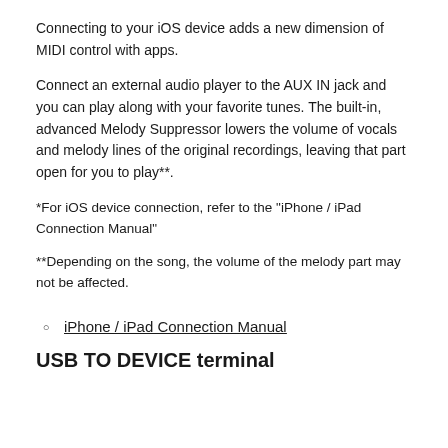Connecting to your iOS device adds a new dimension of MIDI control with apps.
Connect an external audio player to the AUX IN jack and you can play along with your favorite tunes. The built-in, advanced Melody Suppressor lowers the volume of vocals and melody lines of the original recordings, leaving that part open for you to play**.
*For iOS device connection, refer to the "iPhone / iPad Connection Manual"
**Depending on the song, the volume of the melody part may not be affected.
iPhone / iPad Connection Manual
USB TO DEVICE terminal